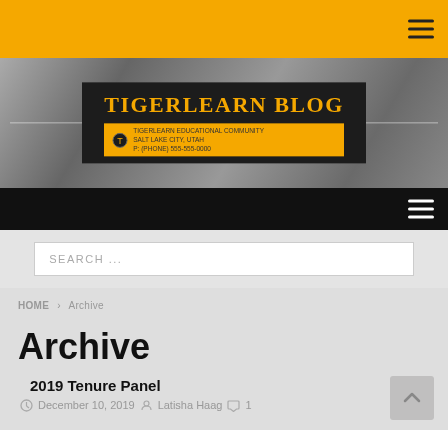TigerLearn Blog - top navigation bar with hamburger menu
[Figure (logo): TigerLearn Blog logo on dark background with yellow subtitle bar, set against a grayscale textured hero image]
Navigation bar with hamburger menu
SEARCH ...
HOME > Archive
Archive
2019 Tenure Panel
December 10, 2019  Latisha Haag  1